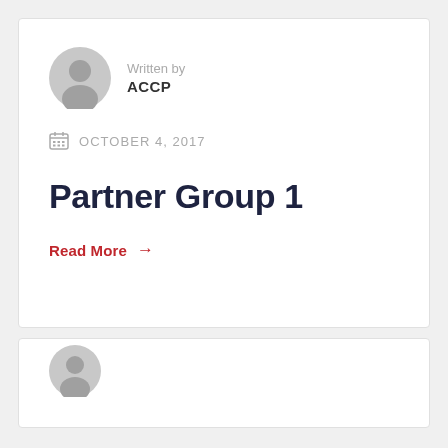Written by ACCP
OCTOBER 4, 2017
Partner Group 1
Read More →